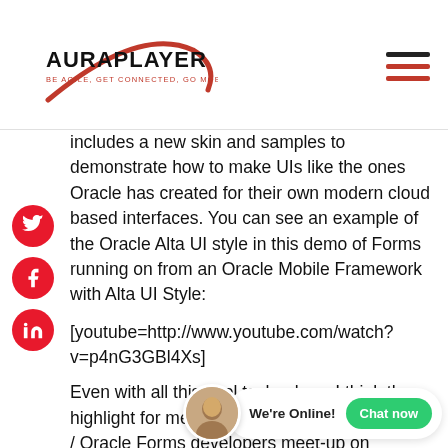AURAPLAYER - BE AGILE, GET CONNECTED, GO MOBILE
includes a new skin and samples to demonstrate how to make UIs like the ones Oracle has created for their own modern cloud based interfaces. You can see an example of the Oracle Alta UI style in this demo of Forms running on from an Oracle Mobile Framework with Alta UI Style: [youtube=http://www.youtube.com/watch?v=p4nG3GBl4Xs]
Even with all this cool technology, I think the highlight for me had to be the ADF EMG / MAF / Oracle Forms developers meet-up on Tuesday night sponsored by ODTUG. Initially we were...success of this event, because often most